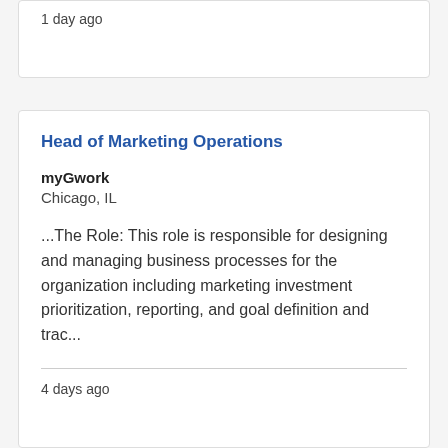1 day ago
Head of Marketing Operations
myGwork
Chicago, IL
...The Role: This role is responsible for designing and managing business processes for the organization including marketing investment prioritization, reporting, and goal definition and trac...
4 days ago